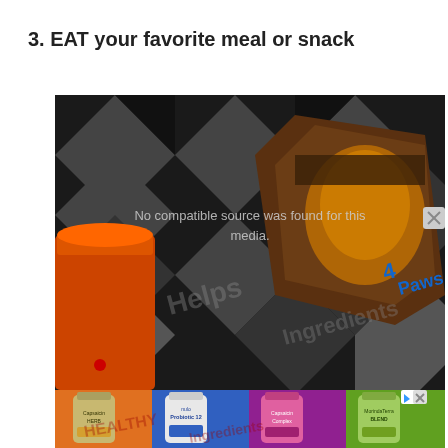3. EAT your favorite meal or snack
[Figure (photo): A photo/video frame showing snack food packages on a dark patterned surface with an orange cup on the left side. A video overlay message reads 'No compatible source was found for this media.' with watermark text 'Helps' and 'Ingredients'. Below the main photo is an advertisement strip showing four supplement bottles (Capsaicin Herb, Probiotic 12, Capsaicin Complex, MorindaTerra) on colored backgrounds (orange, blue, purple, green) with 'HEALTHY Ingredients' watermark text and ad close buttons.]